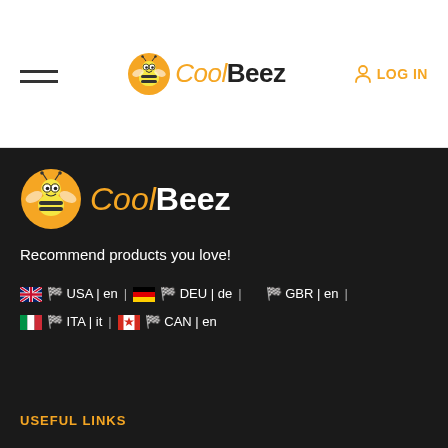CoolBeez - LOG IN
[Figure (logo): CoolBeez logo with bee mascot icon in orange circle, text Cool in orange italic and Beez in black bold]
Recommend products you love!
🇬🇧 USA | en | 🇩🇪 DEU | de | GBR | en | 🇮🇹 ITA | it | 🇨🇦 CAN | en
USEFUL LINKS